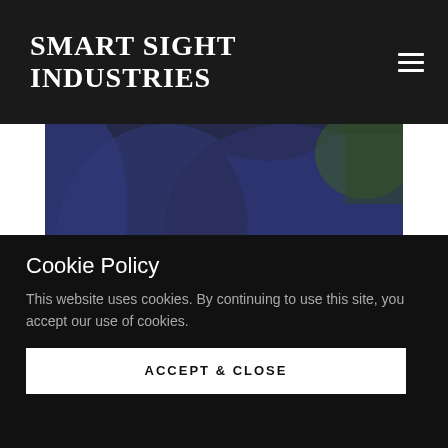SMART SIGHT INDUSTRIES
[Figure (photo): Close-up photo of a person wearing a dark navy blue robe or gown, hands folded or crossed at the front, with a dark green blurred background]
Cookie Policy
This website uses cookies. By continuing to use this site, you accept our use of cookies.
ACCEPT & CLOSE